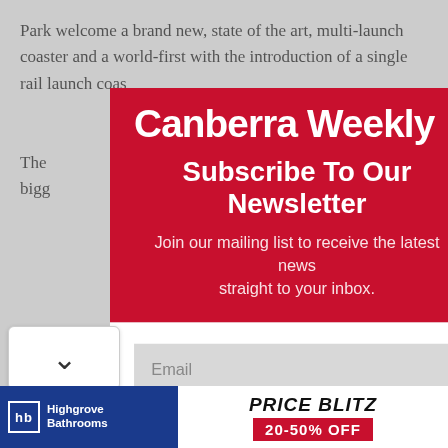Park welcome a brand new, state of the art, multi-launch coaster and a world-first with the introduction of a single rail launch coas
The ... bigg...
[Figure (screenshot): Canberra Weekly newsletter subscription modal popup with red header showing logo 'Canberra Weekly', headline 'Subscribe To Our Newsletter', subtext 'Join our mailing list to receive the latest news straight to your inbox.', email input field, and SUBSCRIBE! button. A close (X) button is in the top right of the modal.]
[Figure (infographic): Highgrove Bathrooms advertisement banner: blue background on left with logo, white section on right with 'PRICE BLITZ 20-50% OFF' text in italic and red box.]